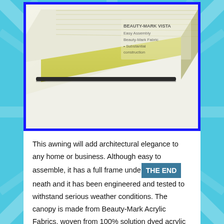[Figure (photo): Photo of a folding awning/canopy panel with yellow foam insulation visible, shown at an angle with a metal rod/bar across it. There is text overlay in the upper right of the image (product description text, partially visible). The image is framed with a thick blue border.]
This awning will add architectural elegance to any home or business. Although easy to assemble, it has a full frame underneath and it has been engineered and tested to withstand serious weather conditions. The canopy is made from Beauty-Mark Acrylic Fabrics, woven from 100% solution dyed acrylic anti-microbial yarns and